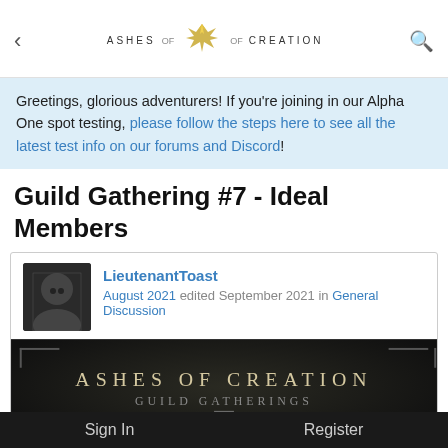< ASHES OF CREATION [logo] [search]
Greetings, glorious adventurers! If you're joining in our Alpha One spot testing, please follow the steps here to see all the latest test info on our forums and Discord!
Guild Gathering #7 - Ideal Members
LieutenantToast
August 2021 edited September 2021 in General Discussion
[Figure (illustration): Ashes of Creation Guild Gatherings banner image with dark background, ornate title text]
Sign In    Register